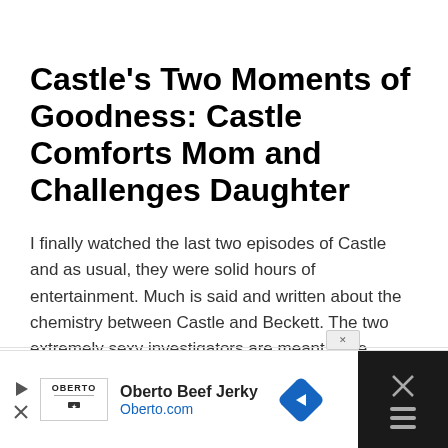Castle's Two Moments of Goodness: Castle Comforts Mom and Challenges Daughter
I finally watched the last two episodes of Castle and as usual, they were solid hours of entertainment. Much is said and written about the chemistry between Castle and Beckett. The two extremely sexy investigators are meant to be together and I'm just waiting for that moment to happen. I...
[Figure (other): Advertisement bar for Oberto Beef Jerky showing logo, brand name, website Oberto.com, a blue diamond navigation icon, and a dark panel with close (X) button and settings icon.]